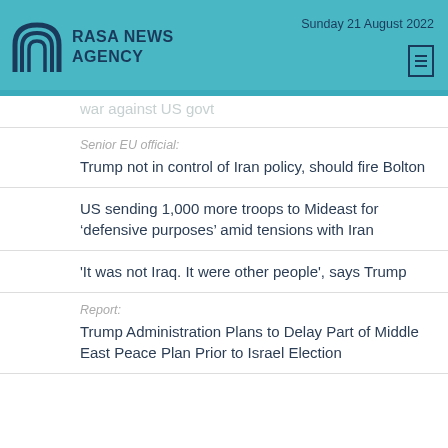RASA NEWS AGENCY — Sunday 21 August 2022
war against US govt
Senior EU official:
Trump not in control of Iran policy, should fire Bolton
US sending 1,000 more troops to Mideast for ‘defensive purposes’ amid tensions with Iran
'It was not Iraq. It were other people', says Trump
Report:
Trump Administration Plans to Delay Part of Middle East Peace Plan Prior to Israel Election